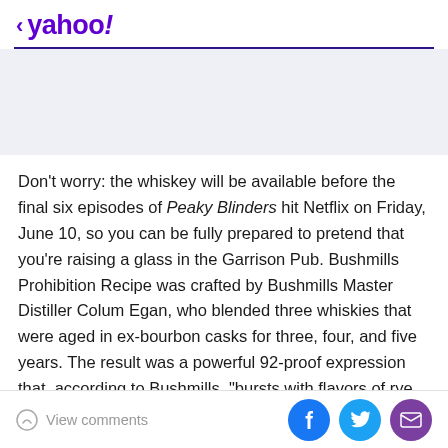< yahoo!
[Figure (other): Gray advertisement placeholder banner]
Don't worry: the whiskey will be available before the final six episodes of Peaky Blinders hit Netflix on Friday, June 10, so you can be fully prepared to pretend that you're raising a glass in the Garrison Pub. Bushmills Prohibition Recipe was crafted by Bushmills Master Distiller Colum Egan, who blended three whiskies that were aged in ex-bourbon casks for three, four, and five years. The result was a powerful 92-proof expression that, according to Bushmills, "bursts with flavors of rye bread, orange
View comments | Facebook | Twitter | Email